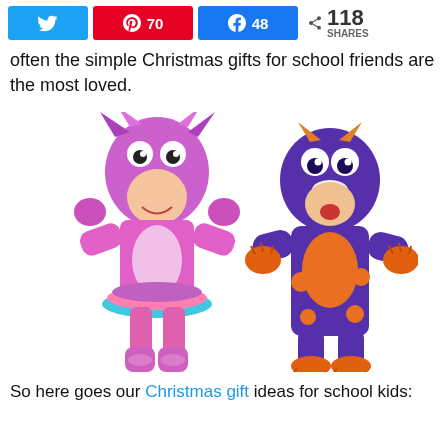[Figure (infographic): Social share bar with Twitter button (blue), Pinterest button with 70 count (red), Facebook button with 48 count (blue), and share count 118 SHARES]
often the simple Christmas gifts for school friends are the most loved.
[Figure (photo): Two children in monster costumes. Left: girl in pink/purple/blue monster costume with tutu skirt. Right: boy in purple monster onesie with orange belly and horns.]
So here goes our Christmas gift ideas for school kids: